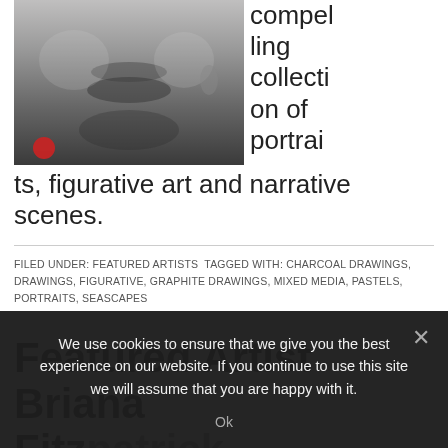[Figure (photo): Close-up grayscale portrait photo of a person's face, cropped to show mouth, nose and lower face area, with a small red circular badge/logo visible on clothing.]
compelling collection of portraits, figurative art and narrative scenes.
FILED UNDER: FEATURED ARTISTS TAGGED WITH: CHARCOAL DRAWINGS, DRAWINGS, FIGURATIVE, GRAPHITE DRAWINGS, MIXED MEDIA, PASTELS, PORTRAITS, SEASCAPES
Featured Artist Briana Fitz...
We use cookies to ensure that we give you the best experience on our website. If you continue to use this site we will assume that you are happy with it.